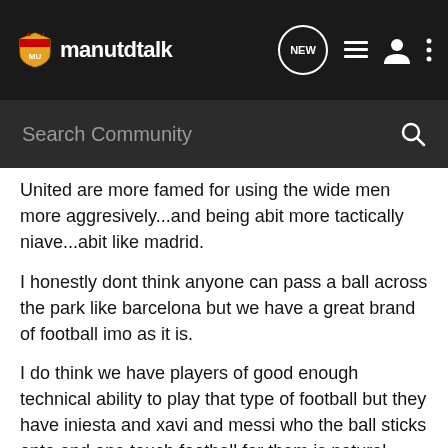manutdtalk — NEW, list, user, more icons
Search Community
United are more famed for using the wide men more aggresively...and being abit more tactically niave...abit like madrid.
I honestly dont think anyone can pass a ball across the park like barcelona but we have a great brand of football imo as it is.
I do think we have players of good enough technical ability to play that type of football but they have iniesta and xavi and messi who the ball sticks onto and one touch football for them is natural.
I still think we're more of an explosive team and have less weaknesses than barcelona but that may be a controversial thing to say as im watching this match too and they are looking...